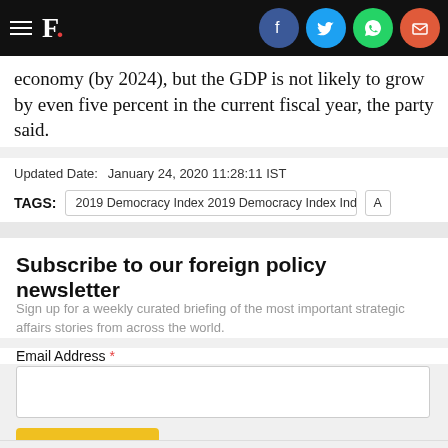F. [logo with social icons: Facebook, Twitter, WhatsApp, Email]
economy (by 2024), but the GDP is not likely to grow by even five percent in the current fiscal year, the party said.
Updated Date:   January 24, 2020 11:28:11 IST
TAGS:  2019 Democracy Index 2019 Democracy Index India Rank  A
Subscribe to our foreign policy newsletter
Sign up for a weekly curated briefing of the most important strategic affairs stories from across the world.
Email Address *
Subscribe